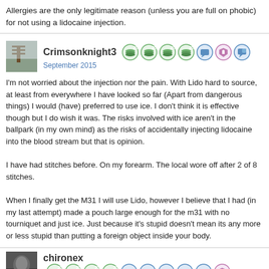Allergies are the only legitimate reason (unless you are full on phobic) for not using a lidocaine injection.
Crimsonknight3 — September 2015
I'm not worried about the injection nor the pain. With Lido hard to source, at least from everywhere I have looked so far (Apart from dangerous things) I would (have) preferred to use ice. I don't think it is effective though but I do wish it was. The risks involved with ice aren't in the ballpark (in my own mind) as the risks of accidentally injecting lidocaine into the blood stream but that is opinion.
I have had stitches before. On my forearm. The local wore off after 2 of 8 stitches.
When I finally get the M31 I will use Lido, however I believe that I had (in my last attempt) made a pouch large enough for the m31 with no tourniquet and just ice. Just because it's stupid doesn't mean its any more or less stupid than putting a foreign object inside your body.
chironex